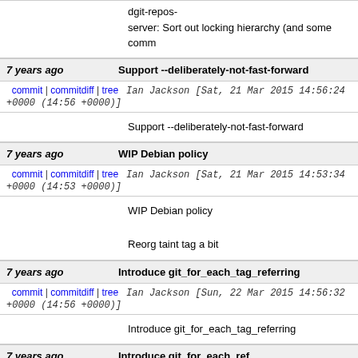dgit-repos-
server: Sort out locking hierarchy (and some comm
7 years ago | Support --deliberately-not-fast-forward
commit | commitdiff | tree  Ian Jackson [Sat, 21 Mar 2015 14:56:24 +0000 (14:56 +0000)]
Support --deliberately-not-fast-forward
7 years ago | WIP Debian policy
commit | commitdiff | tree  Ian Jackson [Sat, 21 Mar 2015 14:53:34 +0000 (14:53 +0000)]
WIP Debian policy

Reorg taint tag a bit
7 years ago | Introduce git_for_each_tag_referring
commit | commitdiff | tree  Ian Jackson [Sun, 22 Mar 2015 14:56:32 +0000 (14:56 +0000)]
Introduce git_for_each_tag_referring
7 years ago | Introduce git_for_each_ref